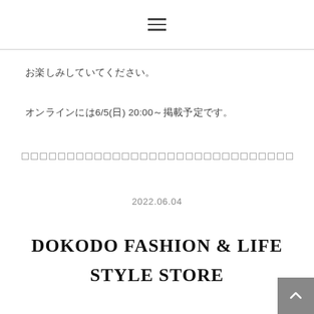≡ (hamburger menu icon)
お楽しみしていてください。
オンラインには6/5(日) 20:00～掲載予定です。
[Figure (other): Row of small outlined square boxes forming a decorative divider line]
2022.06.04
DOKODO FASHION & LIFE STYLE STORE